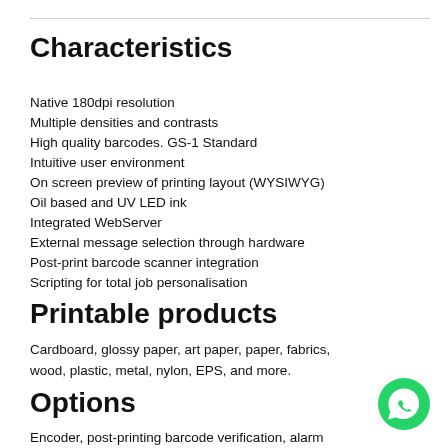Characteristics
Native 180dpi resolution
Multiple densities and contrasts
High quality barcodes. GS-1 Standard
Intuitive user environment
On screen preview of printing layout (WYSIWYG)
Oil based and UV LED ink
Integrated WebServer
External message selection through hardware
Post-print barcode scanner integration
Scripting for total job personalisation
Printable products
Cardboard, glossy paper, art paper, paper, fabrics, wood, plastic, metal, nylon, EPS, and more.
Options
Encoder, post-printing barcode verification, alarm
[Figure (logo): WhatsApp green phone icon]